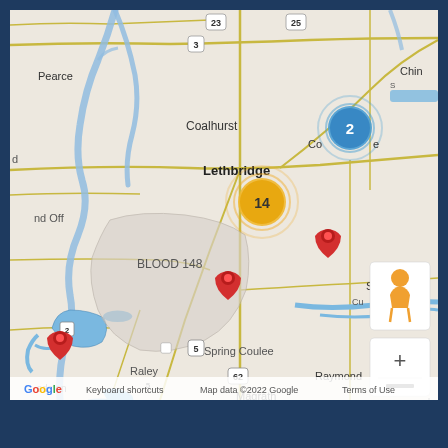[Figure (map): Google Map showing the Lethbridge, Alberta area including locations: Pearce, Coalhurst, Lethbridge (orange cluster marker showing 14), Coaldale area (blue cluster marker showing 2), Blood 148, Raymond, Stirling, Magrath, Spring Coulee, Raley, and other settlements. Three red location pins visible near Magrath, Raymond, and Raley/Cardston area. Map controls include zoom +/- buttons and street view person icon. Footer shows Google branding, 'Keyboard shortcuts', 'Map data ©2022 Google', 'Terms of Use'.]